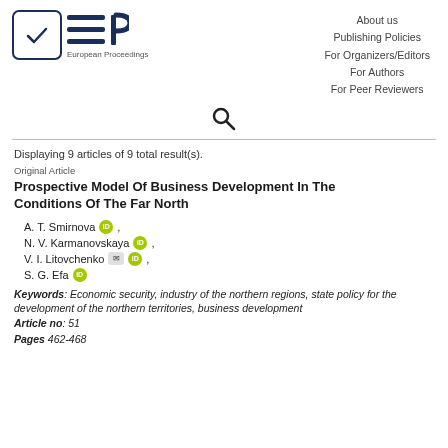[Figure (logo): European Proceedings logo with checkmark in box and EP text lines, plus 'European Proceedings' text]
About us
Publishing Policies
For Organizers/Editors
For Authors
For Peer Reviewers
[Figure (other): Search magnifying glass icon]
Displaying 9 articles of 9 total result(s).
Original Article
Prospective Model Of Business Development In The Conditions Of The Far North
A. T. Smirnova [ORCID],
N. V. Karmanovskaya [ORCID],
V. I. Litovchenko [mail] [ORCID],
S. G. Efa [ORCID]
Keywords: Economic security, industry of the northern regions, state policy for the development of the northern territories, business development
Article no: 51
Pages 462-468